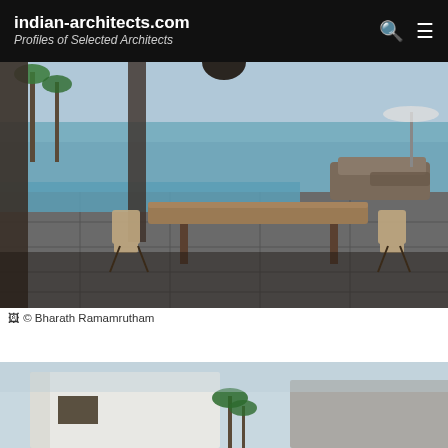indian-architects.com — Profiles of Selected Architects
[Figure (photo): Outdoor dining area with a long wooden table surrounded by canvas safari chairs on a stone-tiled terrace, with an infinity pool and ocean view in the background, palm trees and outdoor seating visible]
🖼 © Bharath Ramamrutham
[Figure (photo): Modern white concrete architecture building exterior with palm trees and blue sky, showing geometric forms and window openings]